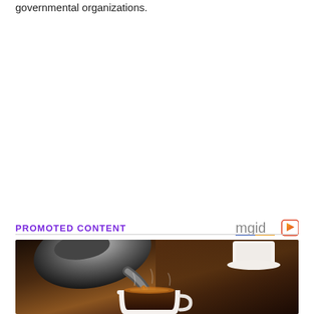governmental organizations.
PROMOTED CONTENT
[Figure (photo): Close-up photo of coffee being poured from a metallic coffee pot into a white espresso cup, with another white cup and saucer visible in the background on a dark wooden surface. Warm amber stream of coffee visible mid-pour.]